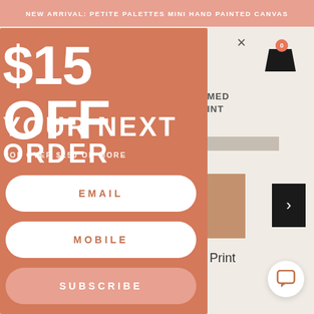NEW ARRIVAL: PETITE PALETTES MINI HAND PAINTED CANVAS
[Figure (screenshot): E-commerce website background showing cart icon with badge 0, product labels 'AMED' and 'RINT', a brown product thumbnail, navigation arrow button, text 'c Print', and a chat support bubble]
$15 OFF
YOUR NEXT ORDER
*OF OVER $150 OR MORE
EMAIL
MOBILE
SUBSCRIBE
NO THANKS, I DON'T WANT $15 OFF
VIEW OUR T&CS HERE